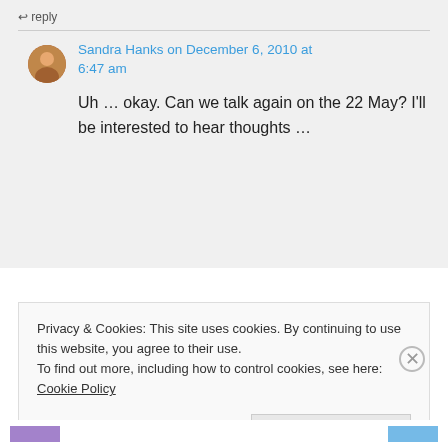reply
Sandra Hanks on December 6, 2010 at 6:47 am
Uh … okay. Can we talk again on the 22 May? I'll be interested to hear thoughts …
Privacy & Cookies: This site uses cookies. By continuing to use this website, you agree to their use.
To find out more, including how to control cookies, see here: Cookie Policy
Close and accept